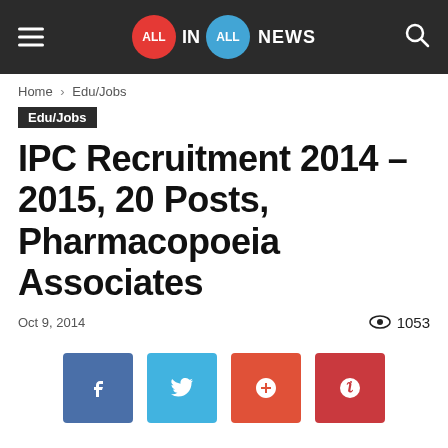ALL IN ALL NEWS
Home › Edu/Jobs
Edu/Jobs
IPC Recruitment 2014 – 2015, 20 Posts, Pharmacopoeia Associates
Oct 9, 2014  1053
[Figure (other): Social sharing buttons: Facebook, Twitter, Google+, Pinterest]